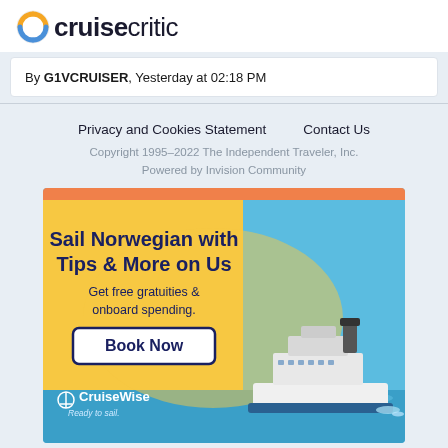cruisecritic
By G1VCRUISER, Yesterday at 02:18 PM
Privacy and Cookies Statement   Contact Us
Copyright 1995–2022 The Independent Traveler, Inc.
Powered by Invision Community
[Figure (illustration): CruiseWise advertisement banner: 'Sail Norwegian with Tips & More on Us. Get free gratuities & onboard spending. Book Now.' with cruise ship image on blue ocean background. CruiseWise logo and 'Ready to sail.' tagline at bottom left.]